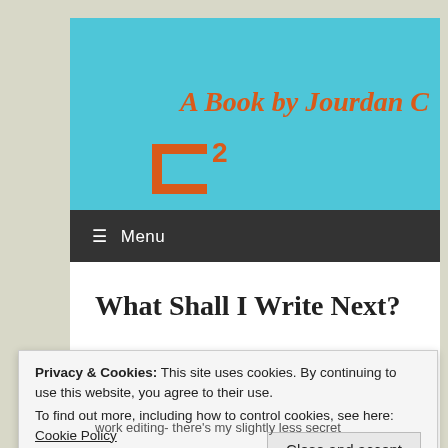[Figure (logo): Website header/banner with cyan background showing a logo with orange bracket and superscript '2' followed by 'A Book by Jourdan C' in orange serif font]
≡ Menu
What Shall I Write Next?
Privacy & Cookies: This site uses cookies. By continuing to use this website, you agree to their use.
To find out more, including how to control cookies, see here: Cookie Policy
Close and accept
work editing- there's my slightly less secret